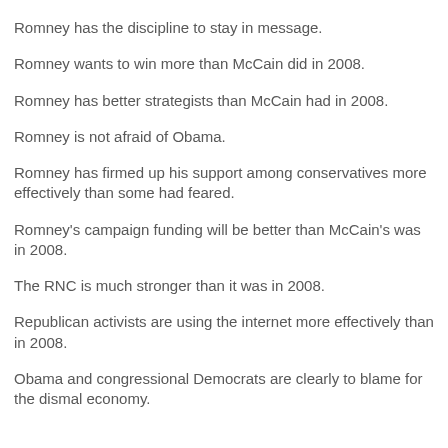Romney has the discipline to stay in message.
Romney wants to win more than McCain did in 2008.
Romney has better strategists than McCain had in 2008.
Romney is not afraid of Obama.
Romney has firmed up his support among conservatives more effectively than some had feared.
Romney's campaign funding will be better than McCain's was in 2008.
The RNC is much stronger than it was in 2008.
Republican activists are using the internet more effectively than in 2008.
Obama and congressional Democrats are clearly to blame for the dismal economy.